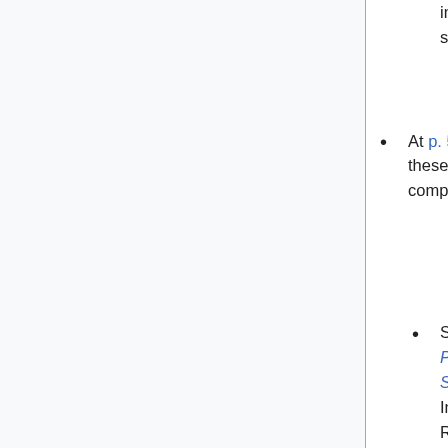initiated green OA, without payment or embargo, should adopt the majority position."
At p. 55, I refer to the "invisibility" of green OA. Add these notes on the general invisibility of green OA compared to gold OA (in chronological order).
See Ian Rowlands and Dave Nichols, New Journal Publishing Models: An International Survey of Senior Researchers, CIBER (Centre for Information Behaviour and the Evaluation of Research), September 22, 2005. The original link is dead and I can't find a live one. But here's an excerpt from the study, quoted in a blog post I wrote at the time: "Authors are